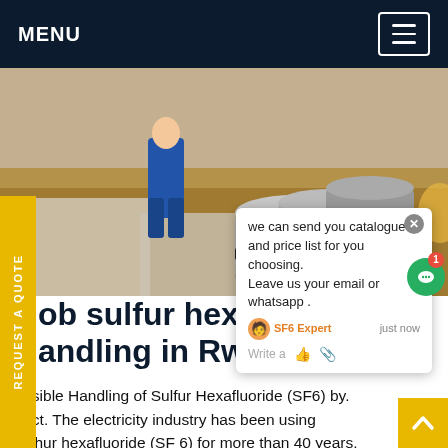MENU
[Figure (photo): Photo of gray gas cylinders (sulfur hexafluoride SF6) lying on the ground outdoors, with a person in blue overalls visible in the background.]
we can send you catalogue and price list for you choosing. Leave us your email or whatsapp .
ob sulfur hexafl... andling in Rwanda
ponsible Handling of Sulfur Hexafluoride (SF6) by. stract. The electricity industry has been using sulphur hexafluoride (SF 6) for more than 40 years. SF 6 is an excellent insulating and arc-quenching medium and allows systems to be more powerful and more compact than any other available